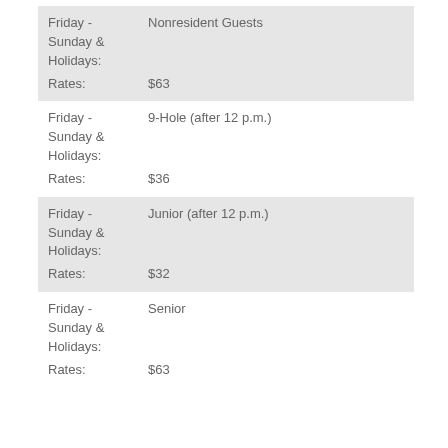| Day/Time | Category | Rates |
| --- | --- | --- |
| Friday - Sunday & Holidays: | Nonresident Guests | $63 |
| Friday - Sunday & Holidays: | 9-Hole (after 12 p.m.) | $36 |
| Friday - Sunday & Holidays: | Junior (after 12 p.m.) | $32 |
| Friday - Sunday & Holidays: | Senior | $63 |